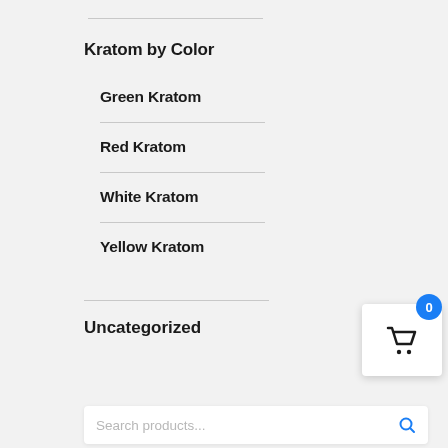Kratom by Color
Green Kratom
Red Kratom
White Kratom
Yellow Kratom
Uncategorized